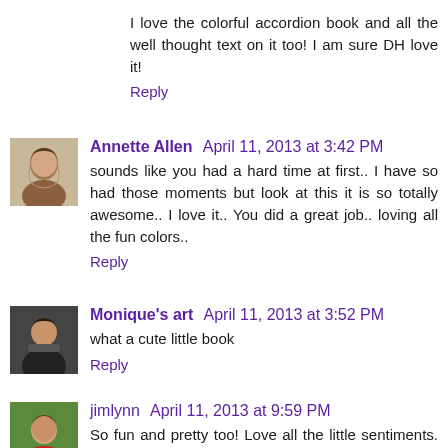I love the colorful accordion book and all the well thought text on it too! I am sure DH love it!
Reply
[Figure (photo): Avatar photo of Annette Allen, a woman with long brown hair]
Annette Allen April 11, 2013 at 3:42 PM
sounds like you had a hard time at first.. I have so had those moments but look at this it is so totally awesome.. I love it.. You did a great job.. loving all the fun colors..
Reply
[Figure (photo): Avatar photo of Monique's art, a woman in dark clothing]
Monique's art April 11, 2013 at 3:52 PM
what a cute little book
Reply
[Figure (photo): Avatar photo of jimlynn, a person in a red jacket outdoors]
jimlynn April 11, 2013 at 9:59 PM
So fun and pretty too! Love all the little sentiments. Very